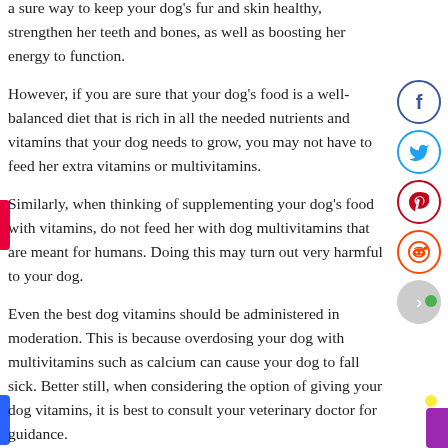a sure way to keep your dog's fur and skin healthy, strengthen her teeth and bones, as well as boosting her energy to function.
However, if you are sure that your dog's food is a well-balanced diet that is rich in all the needed nutrients and vitamins that your dog needs to grow, you may not have to feed her extra vitamins or multivitamins.
Similarly, when thinking of supplementing your dog's food with vitamins, do not feed her with dog multivitamins that are meant for humans. Doing this may turn out very harmful to your dog.
Even the best dog vitamins should be administered in moderation. This is because overdosing your dog with multivitamins such as calcium can cause your dog to fall sick. Better still, when considering the option of giving your dog vitamins, it is best to consult your veterinary doctor for guidance.
When should you give your dog vitamins?